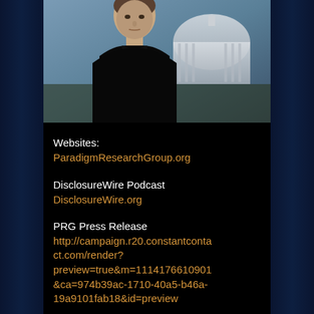[Figure (photo): Photo of a man in a black turtleneck sweater standing in front of what appears to be the US Capitol building]
Websites:
ParadigmResearchGroup.org

DisclosureWire Podcast
DisclosureWire.org

PRG Press Release
http://campaign.r20.constantcontact.com/render?preview=true&m=1114176610901&ca=974b39ac-1710-40a5-b46a-19a9101fab18&id=preview

Stephen Bassett is a political activist, Disclosure advocate and